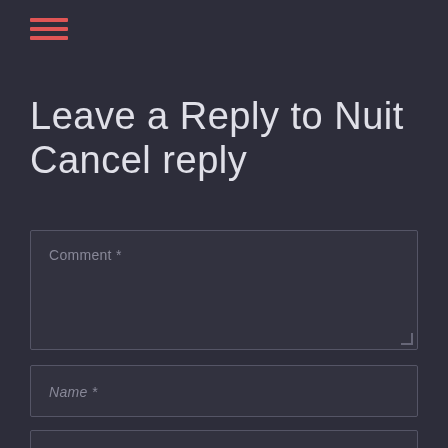[Figure (other): Hamburger menu icon with three horizontal red lines]
Leave a Reply to Nuit Cancel reply
Comment *
Name *
Email *